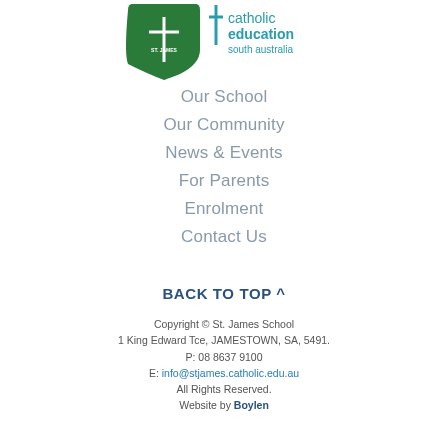[Figure (logo): St. James school shield logo (green) alongside Catholic Education South Australia logo (teal cross and text)]
Our School
Our Community
News & Events
For Parents
Enrolment
Contact Us
BACK TO TOP ^
Copyright © St. James School
1 King Edward Tce, JAMESTOWN, SA, 5491.
P: 08 8637 9100
E: info@stjames.catholic.edu.au
All Rights Reserved.
Website by Boylen